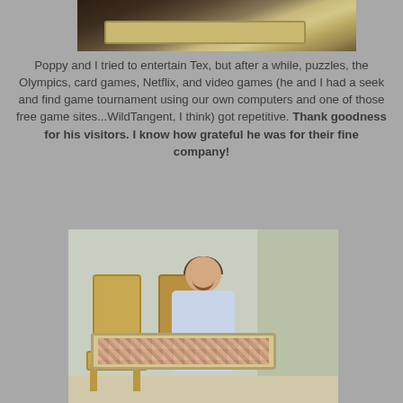[Figure (photo): Top portion of a photo showing a wooden overbed table or lap desk surface, partially cropped]
Poppy and I tried to entertain Tex, but after a while, puzzles, the Olympics, card games, Netflix, and video games (he and I had a seek and find game tournament using our own computers and one of those free game sites...WildTangent, I think) got repetitive. Thank goodness for his visitors. I know how grateful he was for their fine company!
[Figure (photo): A young boy wearing a hospital gown, smiling, seated with a puzzle board/tray on his lap. Two wooden chairs are visible behind him in what appears to be a hospital room.]